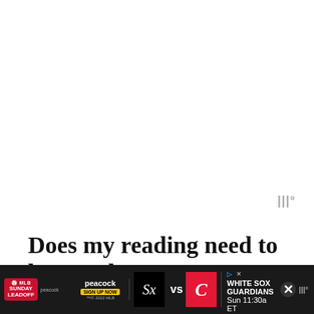[Figure (other): Watermark or icon — three vertical bars with a small degree symbol, gray colored, in the upper right area of the page]
Does my reading need to be typed?
You will need to bring two copies of your reading with you to audition…one to read from and
[Figure (other): Advertisement banner at the bottom: MLB Sunday Leadoff on Peacock — White Sox vs Guardians, Sun 11:30a ET]